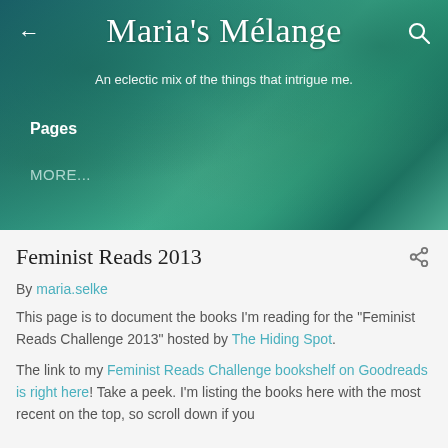[Figure (photo): Teal/turquoise ocean water aerial view used as blog header background]
Maria's Mélange
An eclectic mix of the things that intrigue me.
Pages
MORE...
Feminist Reads 2013
By maria.selke
This page is to document the books I'm reading for the "Feminist Reads Challenge 2013" hosted by The Hiding Spot.
The link to my Feminist Reads Challenge bookshelf on Goodreads is right here! Take a peek. I'm listing the books here with the most recent on the top, so scroll down if you